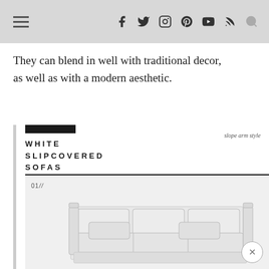Navigation bar with hamburger menu, social icons (Facebook, Twitter, Instagram, Pinterest, YouTube, RSS) and search icon
They can blend in well with traditional decor, as well as with a modern aesthetic.
[Figure (infographic): White Slipcovered Sofas infographic card showing two white sofas labeled 01// and 02// in slope arm style. A black rectangle accent bar at top, bold spaced title 'WHITE SLIPCOVERED SOFAS', italic label 'slope arm style'. Sofa 01 is a three-seat slipcovered sofa with three cushions. Sofa 02 is a three-seat slipcovered sofa without back cushions shown partially.]